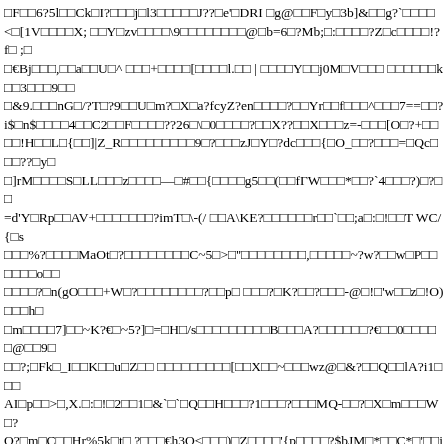□F□□6?5l□□Ck□I?□□□j□l3□□□□□J??□e'□DRI □g@□□F□y□3b]&□□g?`□□□□□
<□[1V□□□□X; □□Y□zv□□□□\9□□□□□□□□@□b=6□?Mb;□:□□□□?Z□c□□□□!?f□ ;□
□€Bj□□□,□□a□□U□^ □□□+□□□□[□□□□l.□□ | □□□□Y□□j0M□V□□□ □□□□□□k□□3□□□9□□
□&9.□□□nG□/?T□?9□□U□m?□X□a?fcyZ?en□□□□?□□Yr□□f□□□^□□□7==□□?
i$□n$□□□□4□□C2□□F□□□□??26□\□0□□□□?□□X??□□X□□□z=-□□□[O□?+□□
□□!H□□L□{□□]|Z_R□□□□□□□□□9□?□□□zJ□Y□?dc□□□{□O_□□?□□□=□Qc□□□??□y□
□]rM□□□□S□LL□□□z□□□□—□#□□{□□□□g5□□(□□fΓW□□□*□□?`4□□□?)□?□□
=d'Y□Rp□□AV+□□□□□□□?imT□\-(/ □□A\KE?□□□□□□r□□`□□;a□:□!□□T WC/{□s
□□□%?□□□□MaOt□?□□□□□□□□C~5□>□''□□□□□□□□,□□□□□~?w?□□w□P□□□□□□o□□
□□□□?□n(gO□□□+W□?□□□□□□□□?□□p□ □□□?□K?□□?□□□-@□!□'w□□z□!O)□□□h□
□m□□□□7]□□~K?€□~5?]□=□H□/s□□□□□□□□□B□□□A?□□□□□□?€□□0□□□□□@□□9□
□□?;□Fk□_I□□K□□u□Z□□ □□□□□□□□□[□□X□□~□□□wz@□&?□□Q□□lA?i1□□□
AI□p□□>□,X.□:□!□2□□1□&`□`□Q□□H□□□?1□□□?□□□MQ-□□?□X□m□□□W□?
Q?□m□C□□Hr%5k□t□ ?□□□€h3Q<□□□)□Z□□□□'{p□□□□?$bJM□*□□C*□'□□i□□
$?□□^g□□□he)e□□B□%□Q□Z□□l□□G□ □□□+1□□?6I>T□&f;□□□<□'_□K8□□?□
□H).□□□□□.□□□)□|□□□□□□□□□□□\□i)□u□};|□X□j□□M□_?□0□□□□??□□□| hg2□□;□□n!□
□□?□□□FH□□□□□□□?/□oC~□>□□□x□□□f□ ?'□~□□□/v*□?W□□□9□?.□gP□s□□□□\)?G
□CO□□?□!□□□□□~□□□zFa8y□□z□M#Fq□'(□□N:e□□-q□?z,I{□?□g□□vF?□□?-[□
5□□H□□z ?B□□□0□□RQ[□?8□?□nl□□□?□x□''□ □□<(□7□A>□]□□SV□□□?□□□□□
*□□F□c□? □Vj□□n□□t□□□□+□□□□%□9X-W□?□3d□□?□□□□□□□□□#□□□□□□□□□f)□□□
€□□2J□{.□b □/□)□|S□□□□□□□□□□?*□□(□□€v□□)rj□)c□ □□□m3□□□3□□N□M□□□
H''□□□□□□□8□R□T□□o3□C□□F□P□<''') □□□□□□□x□7□□□□□□d□□F□□\M□□□□□□,Z□>
□□□□□□□j??□□R)*]□ □□-□□ }□0□□''□□-□Q□o□Z□□u□[: W7□□□6%□□□□4G□□□h4
□□0? □□□□□□k□□3□x□□_□□0□\□□□□□□□□□□□□□x□?□□□z□*□□□□□□□□M? □8w&□□?6e|!□
□□□□&□-□0□Fs□□XC□□?□€□□□X□x:?□□□□6?''9□uc□□:j8□b□(□□@jW□□?□□□L□